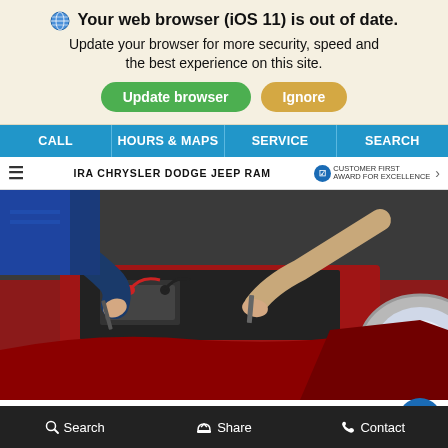Your web browser (iOS 11) is out of date. Update your browser for more security, speed and the best experience on this site.
Update browser | Ignore
CALL | HOURS & MAPS | SERVICE | SEARCH
IRA CHRYSLER DODGE JEEP RAM — CUSTOMER FIRST AWARD FOR EXCELLENCE
[Figure (photo): A mechanic working under the hood of a red car, hands visible holding tools near the battery/engine area. The car headlight is visible on the right side.]
Get the Service You Need
When visiting our dealership you can expect to be greeted with...
Search | Share | Contact